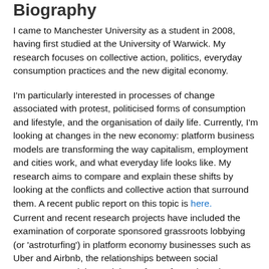Biography
I came to Manchester University as a student in 2008, having first studied at the University of Warwick. My research focuses on collective action, politics, everyday consumption practices and the new digital economy.
I'm particularly interested in processes of change associated with protest, politicised forms of consumption and lifestyle, and the organisation of daily life. Currently, I'm looking at changes in the new economy: platform business models are transforming the way capitalism, employment and cities work, and what everyday life looks like. My research aims to compare and explain these shifts by looking at the conflicts and collective action that surround them. A recent public report on this topic is here.
Current and recent research projects have included the examination of corporate sponsored grassroots lobbying (or 'astroturfing') in platform economy businesses such as Uber and Airbnb, the relationships between social movements and the sociology of transformation, changes in everyday practices (around housing and food), the politics and